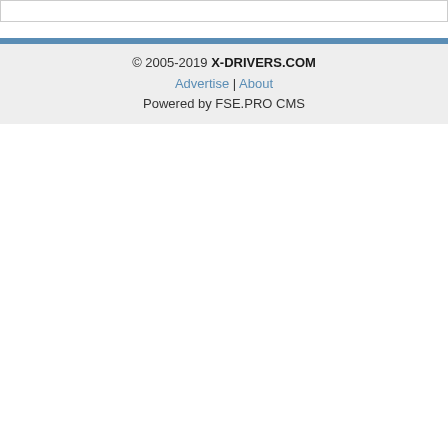© 2005-2019 X-DRIVERS.COM
Advertise | About
Powered by FSE.PRO CMS